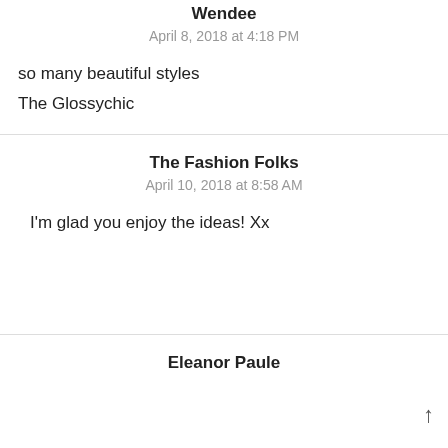Wendee
April 8, 2018 at 4:18 PM
so many beautiful styles
The Glossychic
The Fashion Folks
April 10, 2018 at 8:58 AM
I'm glad you enjoy the ideas! Xx
Eleanor Paule